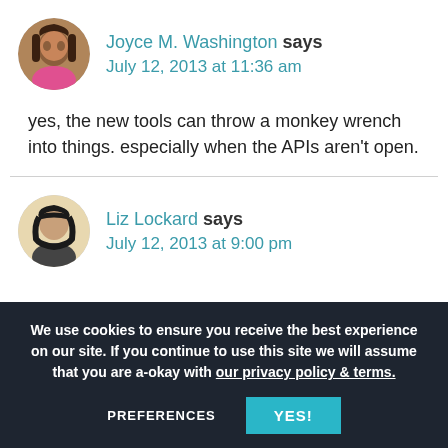[Figure (photo): Circular avatar of Joyce M. Washington, a woman with braids wearing a pink top]
Joyce M. Washington says
July 12, 2013 at 11:36 am
yes, the new tools can throw a monkey wrench into things. especially when the APIs aren't open.
[Figure (photo): Circular avatar of Liz Lockard, a woman with dark hair wearing a dark top]
Liz Lockard says
July 12, 2013 at 9:00 pm
We use cookies to ensure you receive the best experience on our site. If you continue to use this site we will assume that you are a-okay with our privacy policy & terms.